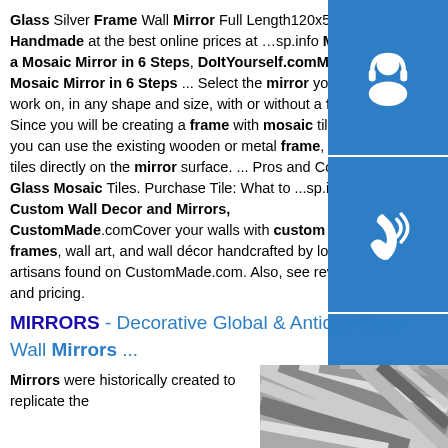Glass Silver Frame Wall Mirror Full Length120x50cm Handmade at the best online prices at …sp.info Make a Mosaic Mirror in 6 Steps, DoItYourself.comMake a Mosaic Mirror in 6 Steps ... Select the mirror you work on, in any shape and size, with or without a frame. Since you will be creating a frame with mosaic tiles, you can use the existing wooden or metal frame, or stick tiles directly on the mirror surface. ... Pros and Cons of Glass Mosaic Tiles. Purchase Tile: What to ...sp.info Custom Wall Decor and Mirrors, CustomMade.comCover your walls with custom mirror frames, wall art, and wall décor handcrafted by local artisans found on CustomMade.com. Also, see reviews and pricing.
[Figure (illustration): Three blue sidebar buttons with white icons: headset/customer support, phone/call, and Skype logo]
MIRRORS - Decorative Global & Antique-Style Wall Mirrors ...
Mirrors were historically created to replicate the
[Figure (photo): Close-up photo of reflective mirror or metallic striped surface in grayscale tones]